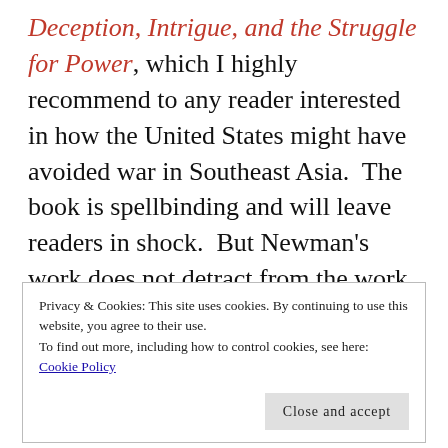Deception, Intrigue, and the Struggle for Power, which I highly recommend to any reader interested in how the United States might have avoided war in Southeast Asia.  The book is spellbinding and will leave readers in shock.  But Newman's work does not detract from the work of Horne, whose discussion of the very critical events during Kennedy's administration present some very disturbing revelations.  Also, Horne references Newman's work on occassion even including
Privacy & Cookies: This site uses cookies. By continuing to use this website, you agree to their use.
To find out more, including how to control cookies, see here: Cookie Policy
(1926–2016) removal and the installation of a